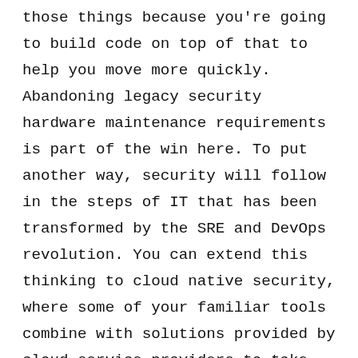those things because you're going to build code on top of that to help you move more quickly. Abandoning legacy security hardware maintenance requirements is part of the win here. To put another way, security will follow in the steps of IT that has been transformed by the SRE and DevOps revolution. You can extend this thinking to cloud native security, where some of your familiar tools combine with solutions provided by cloud service providers to take advantage of cloud native architecture to secure what's built and launched in the cloud. While we talked about the differences between on-prem targeted threats compared to